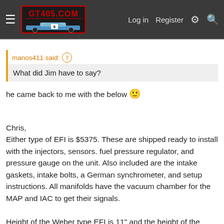GT405.COM — Log in  Register
manos411 said: ↑
What did Jim have to say?
he came back to me with the below 🙂
Chris,
Either type of EFI is $5375. These are shipped ready to install with the injectors, sensors. fuel pressure regulator, and pressure gauge on the unit. Also included are the intake gaskets, intake bolts, a German synchrometer, and setup instructions. All manifolds have the vacuum chamber for the MAP and IAC to get their signals.

Height of the Weber type EFI is 11" and the height of the conventional type EFI is 9" The Weber throttle bodies are higher